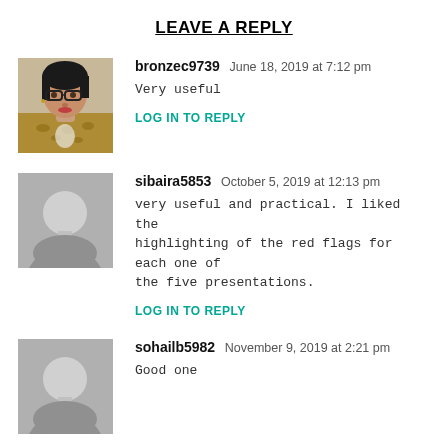LEAVE A REPLY
bronzec9739 June 18, 2019 at 7:12 pm
Very useful
LOG IN TO REPLY
sibaira5853 October 5, 2019 at 12:13 pm
very useful and practical. I liked the highlighting of the red flags for each one of the five presentations.
LOG IN TO REPLY
sohailb5982 November 9, 2019 at 2:21 pm
Good one